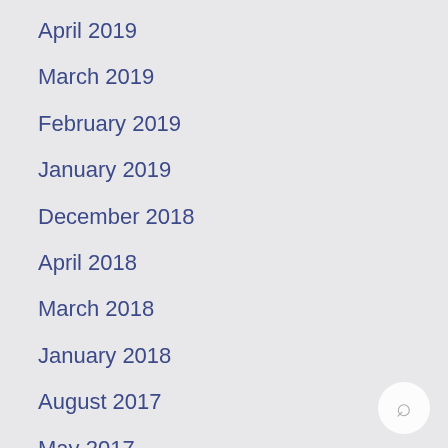April 2019
March 2019
February 2019
January 2019
December 2018
April 2018
March 2018
January 2018
August 2017
May 2017
April 2017
March 2017
February 2017